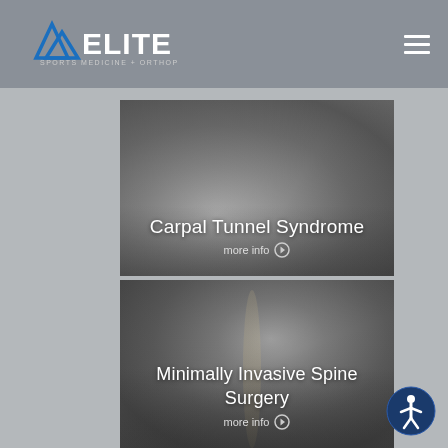[Figure (logo): Elite Sports Medicine + Orthopedics logo with mountain/peak icon and text]
[Figure (photo): Carpal Tunnel Syndrome card with photo of hands at keyboard/mouse, overlay text 'Carpal Tunnel Syndrome' and 'more info' link]
[Figure (photo): Minimally Invasive Spine Surgery card with photo of person's back/spine highlighted, overlay text 'Minimally Invasive Spine Surgery' and 'more info' link]
[Figure (illustration): Accessibility icon button - circular blue/dark icon with person figure, bottom right corner]